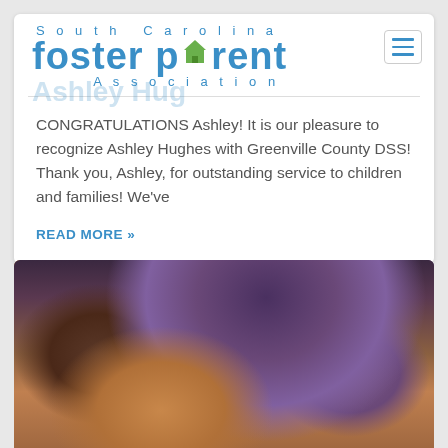South Carolina Foster Parent Association
Ashley Hughes
CONGRATULATIONS Ashley!  It is our pleasure to recognize Ashley Hughes with Greenville County DSS!  Thank you, Ashley, for outstanding service to children and families! We've
READ MORE »
[Figure (photo): Close-up portrait photo of a woman with curly dark hair and makeup, smiling slightly.]